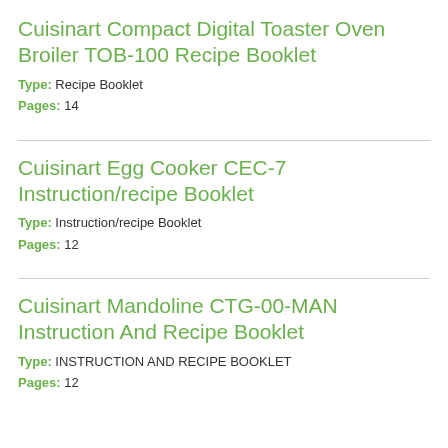Cuisinart Compact Digital Toaster Oven Broiler TOB-100 Recipe Booklet
Type: Recipe Booklet
Pages: 14
Cuisinart Egg Cooker CEC-7 Instruction/recipe Booklet
Type: Instruction/recipe Booklet
Pages: 12
Cuisinart Mandoline CTG-00-MAN Instruction And Recipe Booklet
Type: INSTRUCTION AND RECIPE BOOKLET
Pages: 12